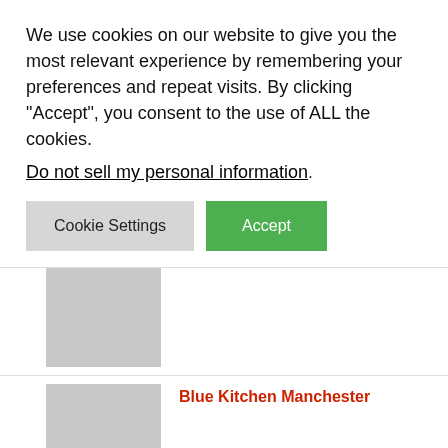We use cookies on our website to give you the most relevant experience by remembering your preferences and repeat visits. By clicking “Accept”, you consent to the use of ALL the cookies.
Do not sell my personal information.
[Figure (other): Cookie Settings button (gray) and Accept button (green)]
[Figure (photo): Gray placeholder thumbnail image, first list item]
[Figure (photo): Gray placeholder thumbnail image for Blue Kitchen Manchester]
Blue Kitchen Manchester
[Figure (photo): Gray placeholder thumbnail image for Unique Ways To Decorate Walls]
Unique Ways To Decorate Walls